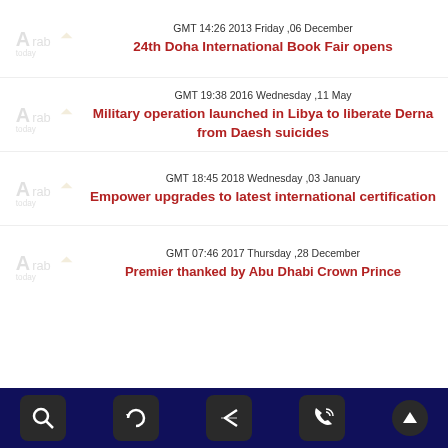[Figure (logo): Arab Today logo - grey watermark style]
GMT 14:26 2013 Friday ,06 December
24th Doha International Book Fair opens
[Figure (logo): Arab Today logo - grey watermark style]
GMT 19:38 2016 Wednesday ,11 May
Military operation launched in Libya to liberate Derna from Daesh suicides
[Figure (logo): Arab Today logo - grey watermark style]
GMT 18:45 2018 Wednesday ,03 January
Empower upgrades to latest international certification
[Figure (logo): Arab Today logo - grey watermark style]
GMT 07:46 2017 Thursday ,28 December
Premier thanked by Abu Dhabi Crown Prince
Navigation bar with search, refresh, back, call icons